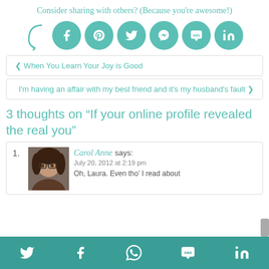Consider sharing with others? (Because you're awesome!)
[Figure (infographic): Social share icons: Facebook, Pinterest, Twitter, Messenger, SMS, LinkedIn on teal circular buttons with a curved arrow]
❮ When You Learn Your Joy is Good
I'm having an affair with my best friend and it's my husband's fault ❯
3 thoughts on “If your online profile revealed the real you”
Carol Anne says:
July 20, 2012 at 2:19 pm
Oh, Laura. Even tho' I read about
[Figure (photo): Profile photo of Carol Anne, a woman with dark hair wearing glasses]
Twitter, Facebook, WhatsApp, SMS, LinkedIn social share icons on teal footer bar